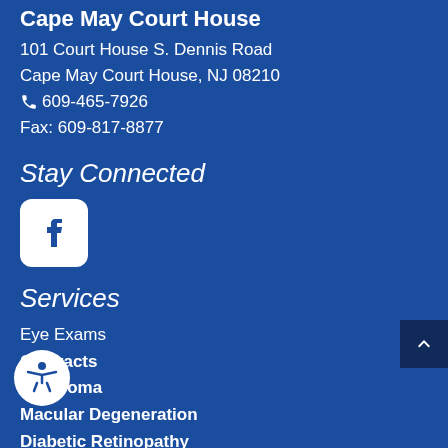Cape May Court House
101 Court House S. Dennis Road
Cape May Court House, NJ 08210
609-465-7926
Fax: 609-817-8877
Stay Connected
[Figure (logo): Facebook logo icon - white rounded square with white 'f' on blue background]
Services
Eye Exams
Cataracts
Glaucoma
Macular Degeneration
Diabetic Retinopathy
Dry Eye